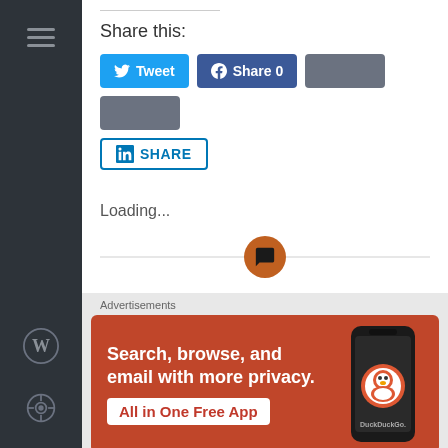Share this:
[Figure (infographic): Social share buttons: Tweet (Twitter, blue), Share 0 (Facebook, dark blue), two gray placeholder buttons, LinkedIn SHARE button]
Loading...
[Figure (infographic): Horizontal divider line with an orange/brown circular comment icon in the center]
Advertisements
[Figure (infographic): DuckDuckGo advertisement banner: orange background, text 'Search, browse, and email with more privacy. All in One Free App' with phone mockup showing DuckDuckGo logo]